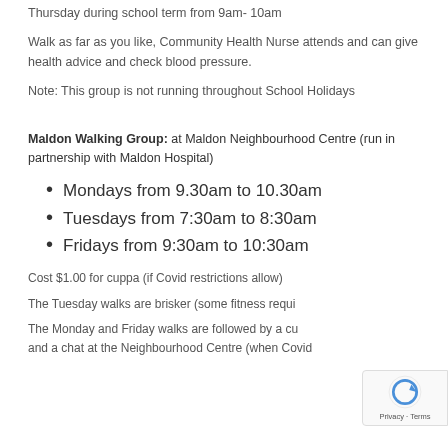Thursday during school term from 9am- 10am
Walk as far as you like, Community Health Nurse attends and can give health advice and check blood pressure.
Note: This group is not running throughout School Holidays
Maldon Walking Group: at Maldon Neighbourhood Centre (run in partnership with Maldon Hospital)
Mondays from 9.30am to 10.30am
Tuesdays from 7:30am to 8:30am
Fridays from 9:30am to 10:30am
Cost $1.00 for cuppa (if Covid restrictions allow)
The Tuesday walks are brisker (some fitness requi...
The Monday and Friday walks are followed by a cu... and a chat at the Neighbourhood Centre (when Covid